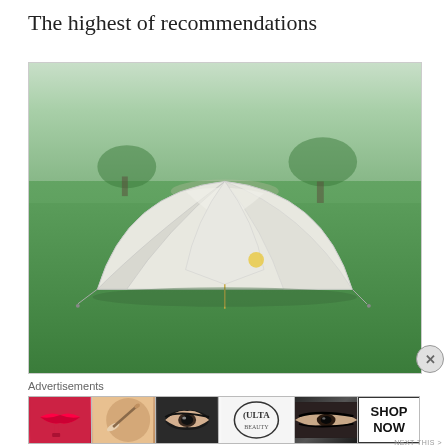The highest of recommendations
[Figure (photo): A white dome-style backpacking tent set up on a green lawn with trees in the background]
Advertisements
[Figure (photo): ULTA beauty advertisement banner showing makeup imagery including lips, brushes, eyes, and ULTA logo with SHOP NOW call to action]